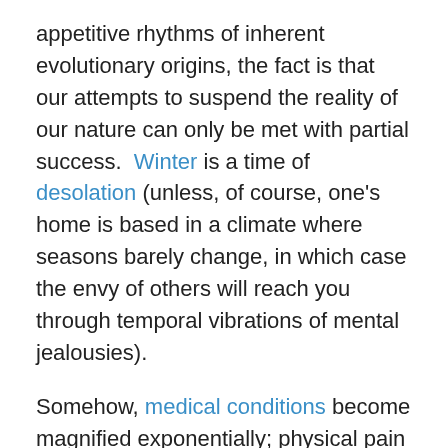appetitive rhythms of inherent evolutionary origins, the fact is that our attempts to suspend the reality of our nature can only be met with partial success.  Winter is a time of desolation (unless, of course, one's home is based in a climate where seasons barely change, in which case the envy of others will reach you through temporal vibrations of mental jealousies).
Somehow, medical conditions become magnified exponentially; physical pain is exacerbated, and psychiatric despair becomes quantifiable. Statistically, there is no greater number of filings for Federal Disability Retirement during one season as opposed to another; but in reality, it is probably more a sense that, as the trees are stripped bare of leaves and the greenery of lawns and nature's interludes are crisp with reminders of decay, the beatitudes of distracting influences become minimized